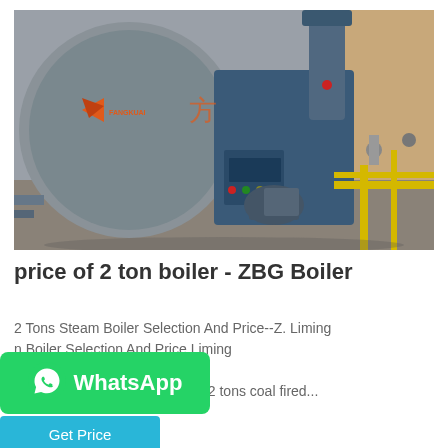[Figure (photo): Industrial steam boiler equipment (FANGKUAI brand) installed in a factory setting. Shows a large grey cylindrical boiler body with blue burner/fan assembly, motor, control panel, and yellow pipes in the background.]
price of 2 ton boiler - ZBG Boiler
2 Tons Steam Boiler Selection And Price--Z. Liming n Boiler Selection And Price Liming re a lot of 2 tons steam boilers, according to the fuel, there are 2 tons coal fired...